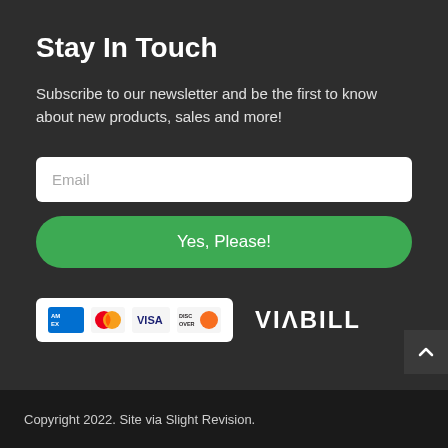Stay In Touch
Subscribe to our newsletter and be the first to know about new products, sales and more!
[Figure (screenshot): Email input field with placeholder text 'Email' on white background with rounded corners]
[Figure (screenshot): Green rounded button labeled 'Yes, Please!']
[Figure (logo): Payment method logos: American Express, Mastercard, Visa, Discover on white background, and VIABILL logo in white text]
Copyright 2022. Site via Slight Revision.